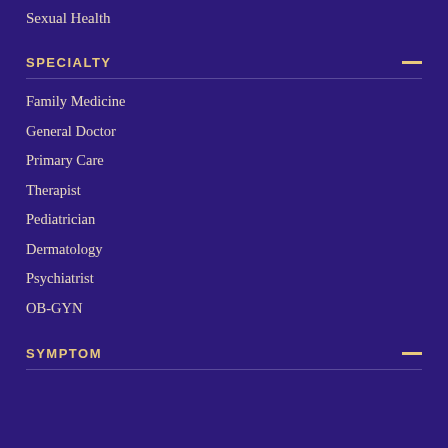Sexual Health
SPECIALTY
Family Medicine
General Doctor
Primary Care
Therapist
Pediatrician
Dermatology
Psychiatrist
OB-GYN
SYMPTOM